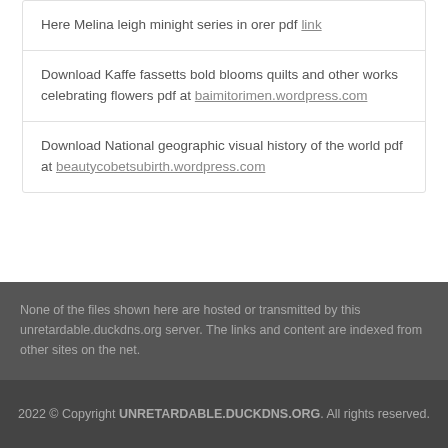Here Melina leigh minight series in orer pdf link
Download Kaffe fassetts bold blooms quilts and other works celebrating flowers pdf at baimitorimen.wordpress.com
Download National geographic visual history of the world pdf at beautycobetsubirth.wordpress.com
None of the files shown here are hosted or transmitted by this unretardable.duckdns.org server. The links and content are indexed from other sites on the net.
2022 © Copyright UNRETARDABLE.DUCKDNS.ORG. All rights reserved.